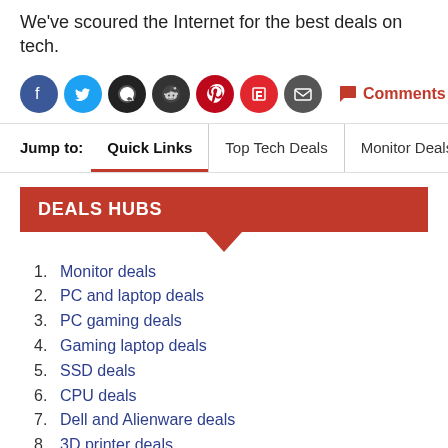We've scoured the Internet for the best deals on tech.
[Figure (infographic): Social sharing icons: Facebook, Twitter, WhatsApp, Reddit, Pinterest, Flipboard, Email. Comments link showing (32).]
Jump to: Quick Links | Top Tech Deals | Monitor Deals | SSI
DEALS HUBS
Monitor deals
PC and laptop deals
PC gaming deals
Gaming laptop deals
SSD deals
CPU deals
Dell and Alienware deals
3D printer deals